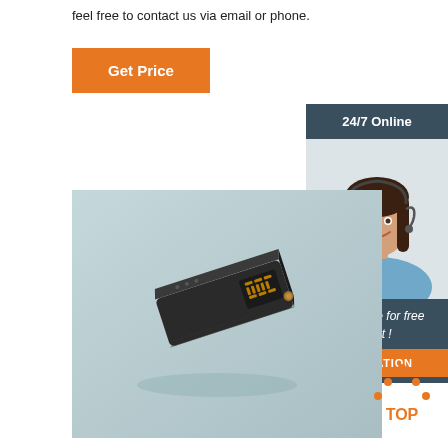feel free to contact us via email or phone.
Get Price
[Figure (photo): Customer service representative woman wearing headset, smiling, with '24/7 Online' header, 'Click here for free chat!' text, and orange QUOTATION button]
[Figure (photo): Product photo of a small black rectangular electronic device with LED display on a light blue-grey background]
[Figure (other): TOP navigation button with orange dots arranged in a triangle/house shape and the word TOP in orange text]